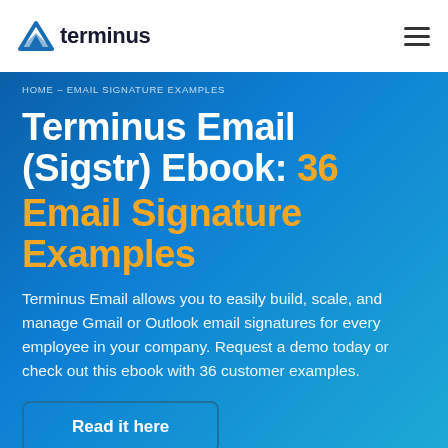terminus
HOME – EMAIL SIGNATURE EXAMPLES
Terminus Email (Sigstr) Ebook: 36 Email Signature Examples
Terminus Email allows you to easily build, scale, and manage Gmail or Outlook email signatures for every employee in your company. Request a demo today or check out this ebook with 36 customer examples.
Read it here